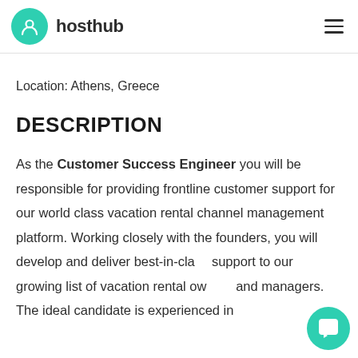hosthub
Location: Athens, Greece
DESCRIPTION
As the Customer Success Engineer you will be responsible for providing frontline customer support for our world class vacation rental channel management platform. Working closely with the founders, you will develop and deliver best-in-class support to our growing list of vacation rental owners and managers. The ideal candidate is experienced in